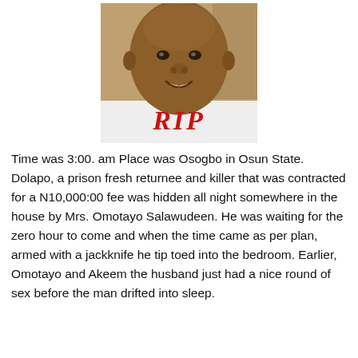[Figure (photo): Photo of a man smiling, cropped to show face and upper chest. He is wearing a white shirt/top. The word 'RIP' is overlaid in large red italic bold text on the shirt area of the photo.]
Time was 3:00. am Place was Osogbo in Osun State. Dolapo, a prison fresh returnee and killer that was contracted for a N10,000:00 fee was hidden all night somewhere in the house by Mrs. Omotayo Salawudeen. He was waiting for the zero hour to come and when the time came as per plan, armed with a jackknife he tip toed into the bedroom. Earlier, Omotayo and Akeem the husband just had a nice round of sex before the man drifted into sleep.